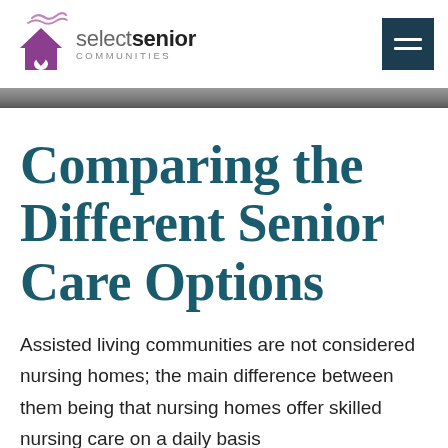select senior COMMUNITIES [logo + nav]
Comparing the Different Senior Care Options
Assisted living communities are not considered nursing homes; the main difference between them being that nursing homes offer skilled nursing care on a daily basis